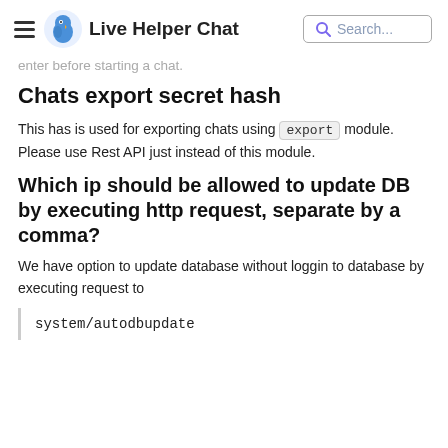Live Helper Chat
enter before starting a chat.
Chats export secret hash
This has is used for exporting chats using export module. Please use Rest API just instead of this module.
Which ip should be allowed to update DB by executing http request, separate by a comma?
We have option to update database without loggin to database by executing request to
system/autodbupdate